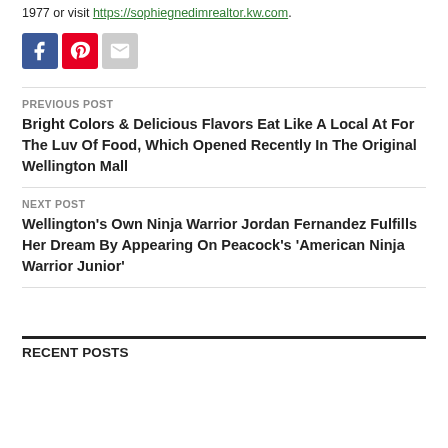1977 or visit https://sophiegnedimrealtor.kw.com.
[Figure (other): Social sharing icons: Facebook (blue), Pinterest (red), Email (grey)]
PREVIOUS POST
Bright Colors & Delicious Flavors Eat Like A Local At For The Luv Of Food, Which Opened Recently In The Original Wellington Mall
NEXT POST
Wellington's Own Ninja Warrior Jordan Fernandez Fulfills Her Dream By Appearing On Peacock's 'American Ninja Warrior Junior'
RECENT POSTS